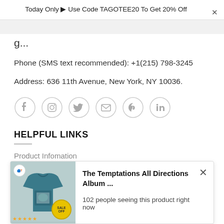Today Only ⭐ Use Code TAGOTEE20 To Get 20% Off
g...
Phone (SMS text recommended): +1(215) 798-3245
Address: 636 11th Avenue, New York, NY 10036.
[Figure (infographic): Row of social media icons: Facebook, Instagram, Twitter, Email, Pinterest, LinkedIn — each in a light grey circle outline]
HELPFUL LINKS
Product Infomation
[Figure (photo): Popup notification showing a teal t-shirt product image with logo and sale badge, titled 'The Temptations All Directions Album ...' with text '102 people seeing this product right now']